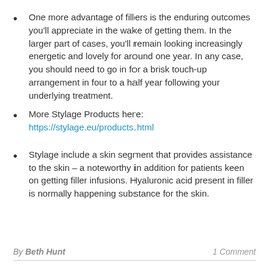One more advantage of fillers is the enduring outcomes you'll appreciate in the wake of getting them. In the larger part of cases, you'll remain looking increasingly energetic and lovely for around one year. In any case, you should need to go in for a brisk touch-up arrangement in four to a half year following your underlying treatment.
More Stylage Products here: https://stylage.eu/products.html
Stylage include a skin segment that provides assistance to the skin – a noteworthy in addition for patients keen on getting filler infusions. Hyaluronic acid present in filler is normally happening substance for the skin.
By Beth Hunt    1 Comment